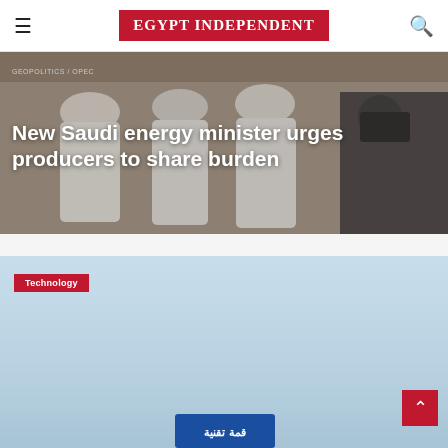EGYPT INDEPENDENT
[Figure (photo): People in white robes/thobes at an event, photographed from behind/side]
New Saudi energy minister urges producers to share burden
[Figure (photo): Light blue sky background with a road sign in Arabic at the bottom, Technology category tag visible]